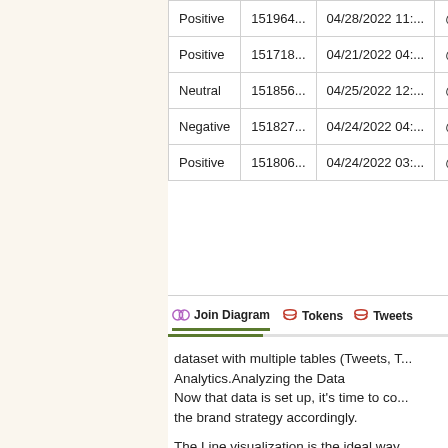| Sentiment | ID | Date | User |
| --- | --- | --- | --- |
| Positive | 151964... | 04/28/2022 11:... | @pla |
| Positive | 151718... | 04/21/2022 04:... | @pla |
| Neutral | 151856... | 04/25/2022 12:... | @pla |
| Negative | 151827... | 04/24/2022 04:... | @_Th |
| Positive | 151806... | 04/24/2022 03:... | @ADh |
dataset with multiple tables (Tweets, T... Analytics.Analyzing the Data Now that data is set up, it's time to co... the brand strategy accordingly.
The Line visualization is the ideal way... of mentions fluctuate with the higher p... April, when Konami made important a...